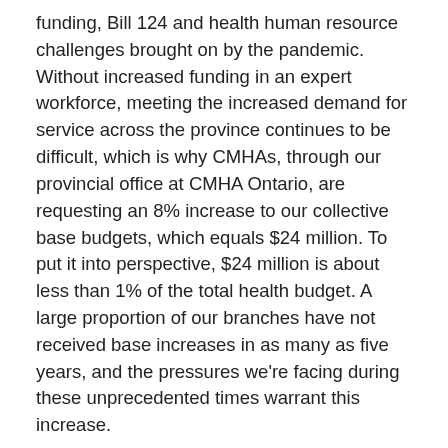funding, Bill 124 and health human resource challenges brought on by the pandemic. Without increased funding in an expert workforce, meeting the increased demand for service across the province continues to be difficult, which is why CMHAs, through our provincial office at CMHA Ontario, are requesting an 8% increase to our collective base budgets, which equals $24 million. To put it into perspective, $24 million is about less than 1% of the total health budget. A large proportion of our branches have not received base increases in as many as five years, and the pressures we're facing during these unprecedented times warrant this increase.
Pandemic polling conducted by CMHA Ontario reveals alarming statistics: 57% of Ontarians are lonelier compared to when the pandemic began, and nearly 80% believe we'll have a mental health crisis once the pandemic is over. A third of Ontarians consider their state of mental health as very good or excellent. CMHA Ontario is doing more polling